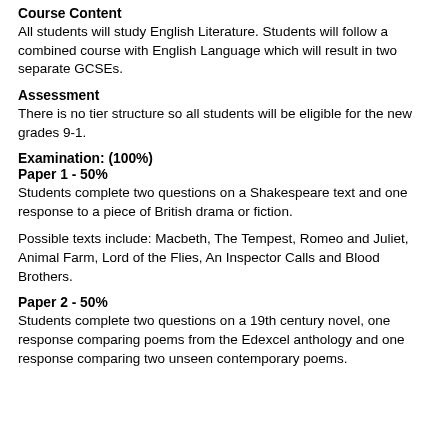Course Content
All students will study English Literature. Students will follow a combined course with English Language which will result in two separate GCSEs.
Assessment
There is no tier structure so all students will be eligible for the new grades 9-1.
Examination: (100%)
Paper 1 - 50%
Students complete two questions on a Shakespeare text and one response to a piece of British drama or fiction.
Possible texts include: Macbeth, The Tempest, Romeo and Juliet, Animal Farm, Lord of the Flies, An Inspector Calls and Blood Brothers.
Paper 2 - 50%
Students complete two questions on a 19th century novel, one response comparing poems from the Edexcel anthology and one response comparing two unseen contemporary poems.